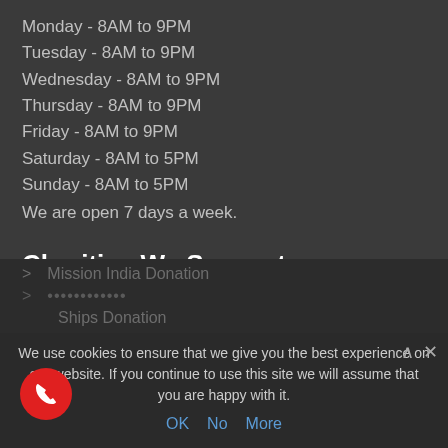Monday - 8AM to 9PM
Tuesday - 8AM to 9PM
Wednesday - 8AM to 9PM
Thursday - 8AM to 9PM
Friday - 8AM to 9PM
Saturday - 8AM to 5PM
Sunday - 8AM to 5PM
We are open 7 days a week.
Charities We Support
Cancer Support UK Donation
RNIB Donation
Mission India Donation
... Donation
Ships Donation
We use cookies to ensure that we give you the best experience on our website. If you continue to use this site we will assume that you are happy with it.
OK   No   More